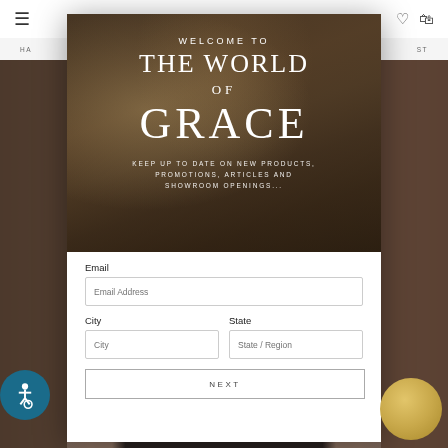Navigation bar with hamburger menu and icons
HA... ...ST
[Figure (photo): Wedding couple embracing in a field, bride holding dried floral bouquet, overlaid with popup modal]
WELCOME TO THE WORLD OF GRACE
KEEP UP TO DATE ON NEW PRODUCTS, PROMOTIONS, ARTICLES AND SHOWROOM OPENINGS...
Email
Email Address
City
State
City
State / Region
NEXT